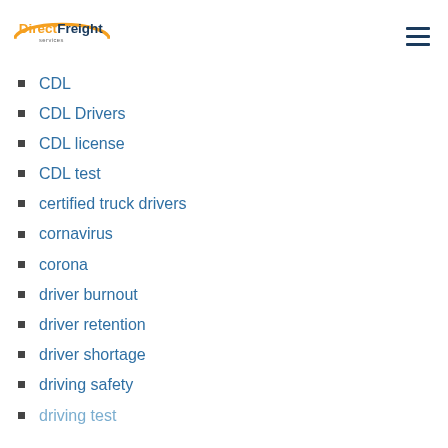[Figure (logo): DirectFreight Services logo with orange ellipse and blue text]
CDL
CDL Drivers
CDL license
CDL test
certified truck drivers
cornavirus
corona
driver burnout
driver retention
driver shortage
driving safety
driving test